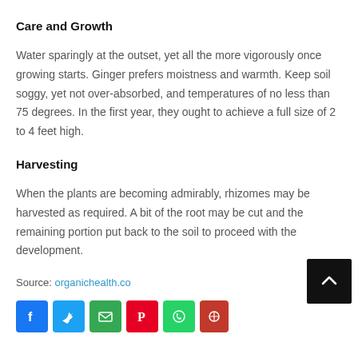Care and Growth
Water sparingly at the outset, yet all the more vigorously once growing starts. Ginger prefers moistness and warmth. Keep soil soggy, yet not over-absorbed, and temperatures of no less than 75 degrees. In the first year, they ought to achieve a full size of 2 to 4 feet high.
Harvesting
When the plants are becoming admirably, rhizomes may be harvested as required. A bit of the root may be cut and the remaining portion put back to the soil to proceed with the development.
Source: organichealth.co